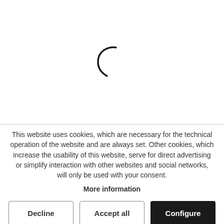[Figure (other): Loading spinner — a partial arc/curved line in dark color centered in the upper white area of the page]
This website uses cookies, which are necessary for the technical operation of the website and are always set. Other cookies, which increase the usability of this website, serve for direct advertising or simplify interaction with other websites and social networks, will only be used with your consent.
More information